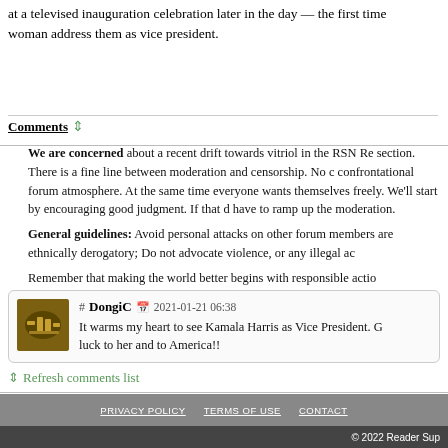at a televised inauguration celebration later in the day — the first time a woman address them as vice president.
Comments
We are concerned about a recent drift towards vitriol in the RSN Reader section. There is a fine line between moderation and censorship. No confrontational forum atmosphere. At the same time everyone wants themselves freely. We'll start by encouraging good judgment. If that have to ramp up the moderation.
General guidelines: Avoid personal attacks on other forum members; are ethnically derogatory; Do not advocate violence, or any illegal ac
Remember that making the world better begins with responsible actio
# DongiC 2021-01-21 06:38 It warms my heart to see Kamala Harris as Vice President. luck to her and to America!!
Refresh comments list
PRIVACY POLICY   TERMS OF USE   CONTACT
© 2022 Reader Sup